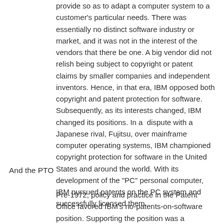provide so as to adapt a computer system to a customer's particular needs. There was essentially no distinct software industry or market, and it was not in the interest of the vendors that there be one. A big vendor did not relish being subject to copyright or patent claims by smaller companies and independent inventors. Hence, in that era, IBM opposed both copyright and patent protection for software. Subsequently, as its interests changed, IBM changed its positions. In a dispute with a Japanese rival, Fujitsu, over mainframe computer operating systems, IBM championed copyright protection for software in the United States and around the world. With its development of the "PC" personal computer, IBM pursued patents on the PC system and successfully licensed them.
And the PTO
Pre-1972, policy and practice in the Patent Office favored IBM's no-patents-on-software position. Supporting the position was a recommendation in